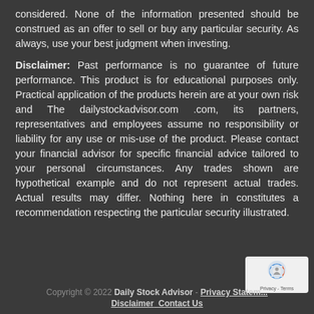considered. None of the information presented should be construed as an offer to sell or buy any particular security. As always, use your best judgment when investing.
Disclaimer: Past performance is no guarantee of future performance. This product is for educational purposes only. Practical application of the products herein are at your own risk and The dailystockadvisor.com .com, its partners, representatives and employees assume no responsibility or liability for any use or mis-use of the product. Please contact your financial advisor for specific financial advice tailored to your personal circumstances. Any trades shown are hypothetical example and do not represent actual trades. Actual results may differ. Nothing here in constitutes a recommendation respecting the particular security illustrated.
[Figure (logo): Privacy - Terms badge with reCAPTCHA-style logo]
Copyright © 2022 Daily Stock Advisor - Privacy Statement - Disclaimer  Contact Us